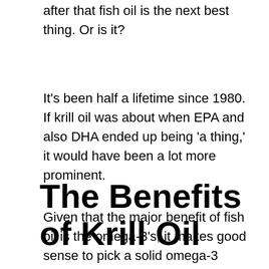after that fish oil is the next best thing. Or is it?
It’s been half a lifetime since 1980. If krill oil was about when EPA and also DHA ended up being ‘a thing,’ it would have been a lot more prominent.
The Benefits of Krill Oil
Given that the major benefit of fish oil is the omega-3’s, it makes good sense to pick a solid omega-3 supplement, right?
For a nutritional supplement to be strong, your body has to take advantage of all of it.